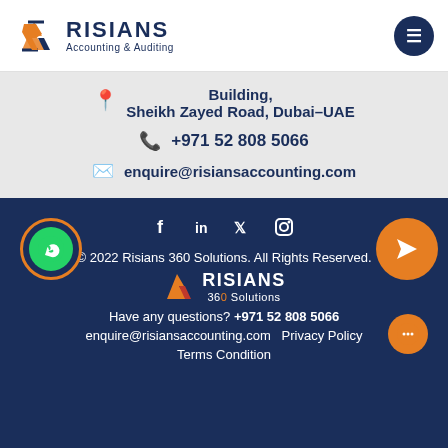[Figure (logo): Risians Accounting & Auditing logo with stylized R icon in orange and dark blue text]
Building, Sheikh Zayed Road, Dubai-UAE
+971 52 808 5066
enquire@risiansaccounting.com
[Figure (logo): Social media icons: Facebook, LinkedIn, Twitter, Instagram in white on dark navy background]
© 2022 Risians 360 Solutions. All Rights Reserved.
[Figure (logo): Risians 360 Solutions footer logo]
Have any questions? +971 52 808 5066
enquire@risiansaccounting.com Privacy Policy
Terms Condition